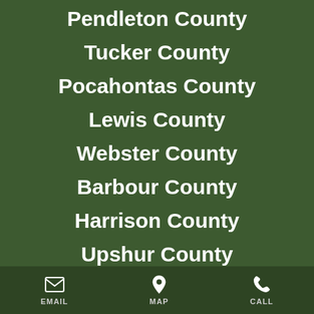Pendleton County
Tucker County
Pocahontas County
Lewis County
Webster County
Barbour County
Harrison County
Upshur County
EMAIL   MAP   CALL